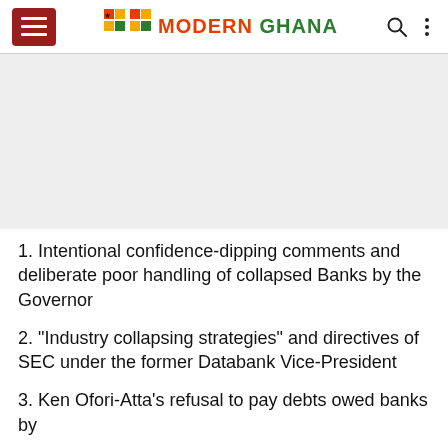Modern Ghana
[Figure (other): Advertisement placeholder / gray banner area]
1. Intentional confidence-dipping comments and deliberate poor handling of collapsed Banks by the Governor
2. "Industry collapsing strategies" and directives of SEC under the former Databank Vice-President
3. Ken Ofori-Atta's refusal to pay debts owed banks by